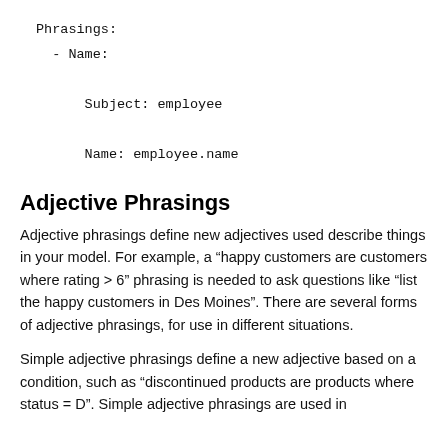Phrasings:
  - Name:
      Subject: employee
      Name: employee.name
Adjective Phrasings
Adjective phrasings define new adjectives used describe things in your model. For example, a “happy customers are customers where rating > 6” phrasing is needed to ask questions like “list the happy customers in Des Moines”. There are several forms of adjective phrasings, for use in different situations.
Simple adjective phrasings define a new adjective based on a condition, such as “discontinued products are products where status = D”. Simple adjective phrasings are used in